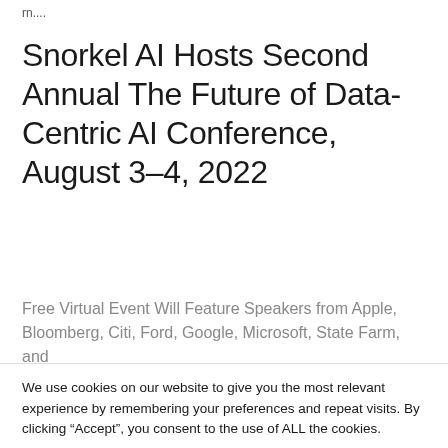rn....
Snorkel AI Hosts Second Annual The Future of Data-Centric AI Conference, August 3–4, 2022
Free Virtual Event Will Feature Speakers from Apple, Bloomberg, Citi, Ford, Google, Microsoft, State Farm, and
We use cookies on our website to give you the most relevant experience by remembering your preferences and repeat visits. By clicking “Accept”, you consent to the use of ALL the cookies.
Do not sell my personal information.